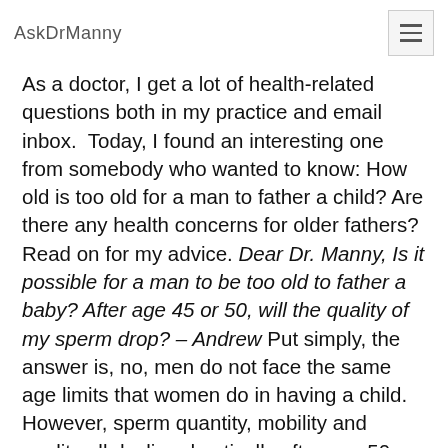AskDrManny
As a doctor, I get a lot of health-related questions both in my practice and email inbox.  Today, I found an interesting one from somebody who wanted to know: How old is too old for a man to father a child? Are there any health concerns for older fathers? Read on for my advice. Dear Dr. Manny, Is it possible for a man to be too old to father a baby? After age 45 or 50, will the quality of my sperm drop? – Andrew Put simply, the answer is, no, men do not face the same age limits that women do in having a child. However, sperm quantity, mobility and quality all decline drastically after age 50, so that is definitely something to take into consideration. You may have heard about a few famous cases of fathers fathering...